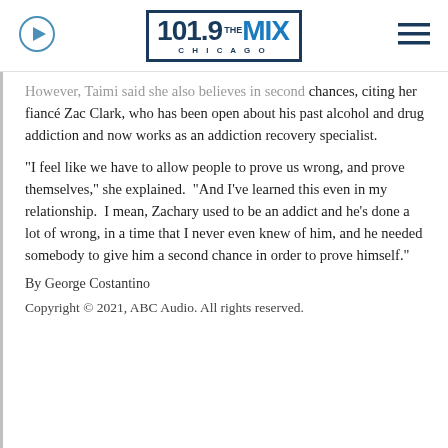101.9 THE MIX CHICAGO
However, Taimi said she also believes in second chances, citing her fiancé Zac Clark, who has been open about his past alcohol and drug addiction and now works as an addiction recovery specialist.
"I feel like we have to allow people to prove us wrong, and prove themselves," she explained. "And I've learned this even in my relationship. I mean, Zachary used to be an addict and he's done a lot of wrong, in a time that I never even knew of him, and he needed somebody to give him a second chance in order to prove himself."
By George Costantino
Copyright © 2021, ABC Audio. All rights reserved.